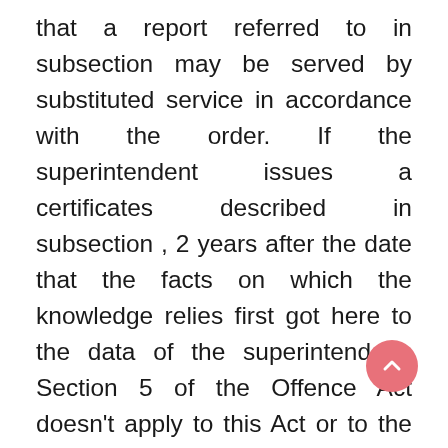that a report referred to in subsection may be served by substituted service in accordance with the order. If the superintendent issues a certificates described in subsection , 2 years after the date that the facts on which the knowledge relies first got here to the data of the superintendent. Section 5 of the Offence Act doesn't apply to this Act or to the laws. If a developer commits an offence beneath this Act, an officer, director, controlling shareholder or associate of the developer who authorizes, permits or acquiesces within the offence commits the same off whether or not the developer is convicted of the off